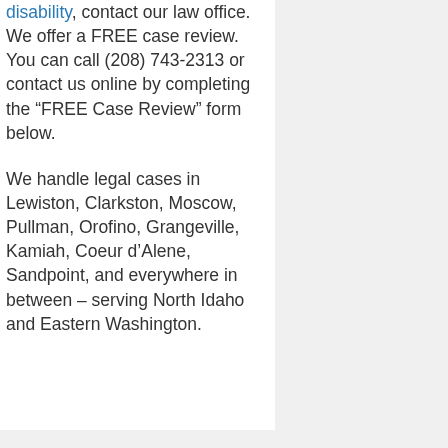disability, contact our law office. We offer a FREE case review. You can call (208) 743-2313 or contact us online by completing the “FREE Case Review” form below.
We handle legal cases in Lewiston, Clarkston, Moscow, Pullman, Orofino, Grangeville, Kamiah, Coeur d’Alene, Sandpoint, and everywhere in between – serving North Idaho and Eastern Washington.